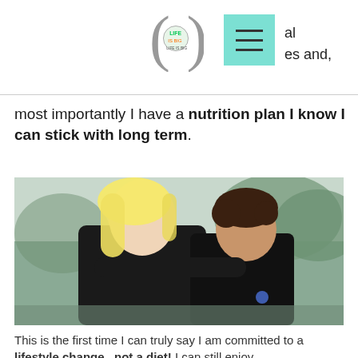al es and,
most importantly I have a nutrition plan I know I can stick with long term.
[Figure (photo): A smiling blonde woman in a black outfit hugging a curly-haired boy who is looking up at her, outdoors with a blurred background.]
This is the first time I can truly say I am committed to a lifestyle change...not a diet! I can still enjoy